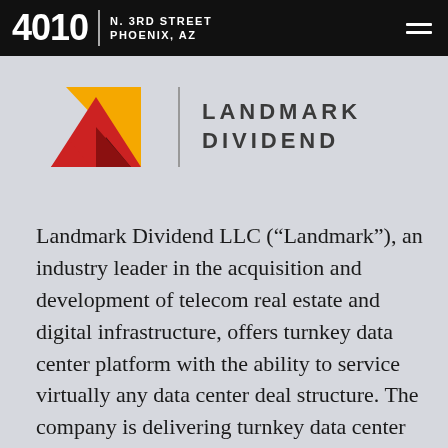4010 | N. 3RD STREET PHOENIX, AZ
[Figure (logo): Landmark Dividend logo with two overlapping triangles (gold and red) and text LANDMARK DIVIDEND]
Landmark Dividend LLC (“Landmark”), an industry leader in the acquisition and development of telecom real estate and digital infrastructure, offers turnkey data center platform with the ability to service virtually any data center deal structure. The company is delivering turnkey data center services via facility management solutions that include service-level guarantees and marketing of excess capacity for lease to service